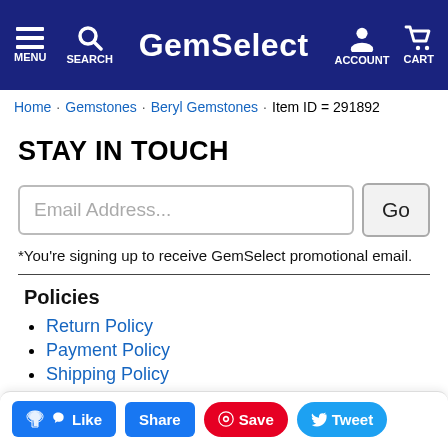GemSelect — MENU SEARCH ACCOUNT CART
Home · Gemstones · Beryl Gemstones · Item ID = 291892
STAY IN TOUCH
Email Address... Go
*You're signing up to receive GemSelect promotional email.
Policies
Return Policy
Payment Policy
Shipping Policy
Privacy Policy
Guarantee
Like  Share  Save  Tweet